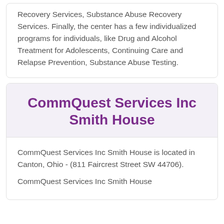Recovery Services, Substance Abuse Recovery Services. Finally, the center has a few individualized programs for individuals, like Drug and Alcohol Treatment for Adolescents, Continuing Care and Relapse Prevention, Substance Abuse Testing.
CommQuest Services Inc Smith House
CommQuest Services Inc Smith House is located in Canton, Ohio - (811 Faircrest Street SW 44706).
CommQuest Services Inc Smith House